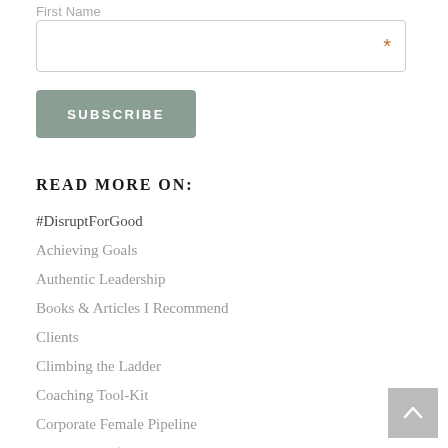First Name
*
SUBSCRIBE
READ MORE ON:
#DisruptForGood
Achieving Goals
Authentic Leadership
Books & Articles I Recommend
Clients
Climbing the Ladder
Coaching Tool-Kit
Corporate Female Pipeline
Daily Dose of Inspiration